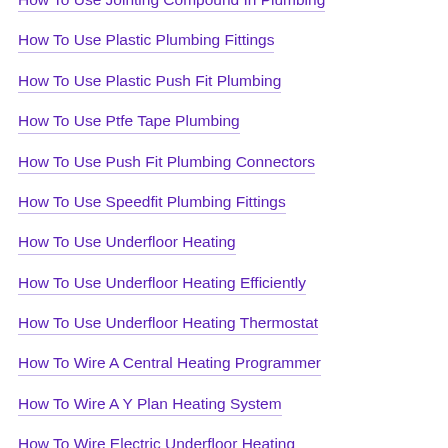How To Use Jointing Compound In Plumbing
How To Use Plastic Plumbing Fittings
How To Use Plastic Push Fit Plumbing
How To Use Ptfe Tape Plumbing
How To Use Push Fit Plumbing Connectors
How To Use Speedfit Plumbing Fittings
How To Use Underfloor Heating
How To Use Underfloor Heating Efficiently
How To Use Underfloor Heating Thermostat
How To Wire A Central Heating Programmer
How To Wire A Y Plan Heating System
How To Wire Electric Underfloor Heating
How To Wire In Floor Heating